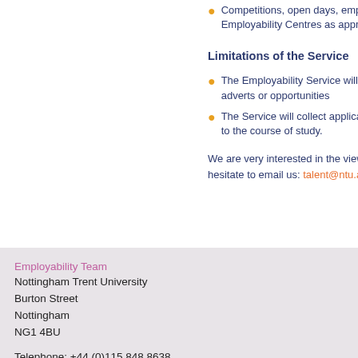Competitions, open days, employer events — advertised through Employability Centres as appropriate
Limitations of the Service
The Employability Service will provide... adverts or opportunities
The Service will collect applications... to the course of study.
We are very interested in the views of... hesitate to email us: talent@ntu.ac.u...
Employability Team
Nottingham Trent University
Burton Street
Nottingham
NG1 4BU

Telephone: +44 (0)115 848 8638
E-mail us